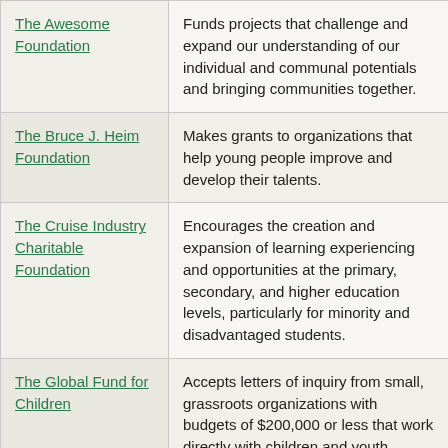| Organization | Description |
| --- | --- |
| The Awesome Foundation | Funds projects that challenge and expand our understanding of our individual and communal potentials and bringing communities together. |
| The Bruce J. Heim Foundation | Makes grants to organizations that help young people improve and develop their talents. |
| The Cruise Industry Charitable Foundation | Encourages the creation and expansion of learning experiencing and opportunities at the primary, secondary, and higher education levels, particularly for minority and disadvantaged students. |
| The Global Fund for Children | Accepts letters of inquiry from small, grassroots organizations with budgets of $200,000 or less that work directly with children and youth. |
| The Healy | Supports programs in Oregon that give children educated, informed and |